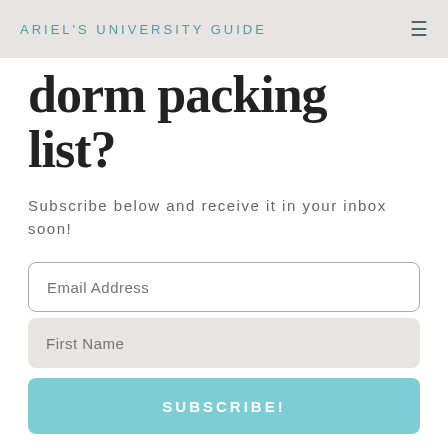ARIEL'S UNIVERSITY GUIDE
dorm packing list?
Subscribe below and receive it in your inbox soon!
Email Address
First Name
SUBSCRIBE!
We respect your privacy. Unsubscribe at any time.